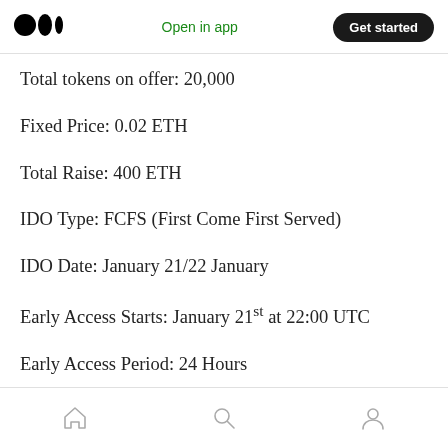Medium logo | Open in app | Get started
Total tokens on offer: 20,000
Fixed Price: 0.02 ETH
Total Raise: 400 ETH
IDO Type: FCFS (First Come First Served)
IDO Date: January 21/22 January
Early Access Starts: January 21st at 22:00 UTC
Early Access Period: 24 Hours
Home | Search | Profile